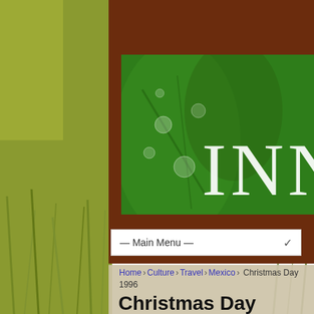[Figure (screenshot): Website screenshot with green leaf/water-drop banner showing 'INN' letters, brown navigation bar with Main Menu dropdown, wheat field background]
— Main Menu —
Christmas Day 1996
We met the wife of a missionary of the Presbyterian Church at a hair shop where we had not previously been. She and her husband invited us to go with them on Christmas Day to a village about an hour out